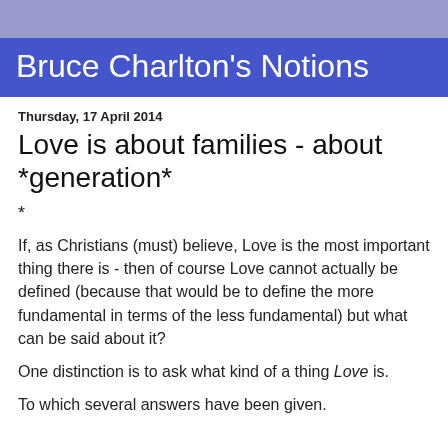Bruce Charlton's Notions
Thursday, 17 April 2014
Love is about families - about *generation*
*
If, as Christians (must) believe, Love is the most important thing there is - then of course Love cannot actually be defined (because that would be to define the more fundamental in terms of the less fundamental) but what can be said about it?
One distinction is to ask what kind of a thing Love is.
To which several answers have been given.